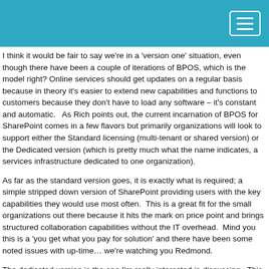I think it would be fair to say we're in a 'version one' situation, even though there have been a couple of iterations of BPOS, which is the model right? Online services should get updates on a regular basis because in theory it's easier to extend new capabilities and functions to customers because they don't have to load any software – it's constant and automatic.   As Rich points out, the current incarnation of BPOS for SharePoint comes in a few flavors but primarily organizations will look to support either the Standard licensing (multi-tenant or shared version) or the Dedicated version (which is pretty much what the name indicates, a services infrastructure dedicated to one organization).
As far as the standard version goes, it is exactly what is required; a simple stripped down version of SharePoint providing users with the key capabilities they would use most often.  This is a great fit for the small organizations out there because it hits the mark on price point and brings structured collaboration capabilities without the IT overhead.  Mind you this is a 'you get what you pay for solution' and there have been some noted issues with up-time… we're watching you Redmond.
The dedicated version is the one I'm really interested in discussing.  This is the version geared for larger organizations, like those Google